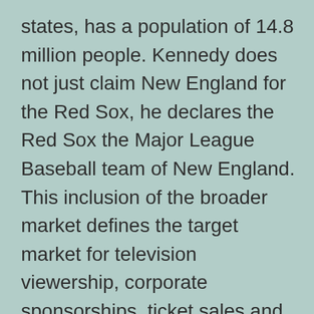states, has a population of 14.8 million people. Kennedy does not just claim New England for the Red Sox, he declares the Red Sox the Major League Baseball team of New England. This inclusion of the broader market defines the target market for television viewership, corporate sponsorships, ticket sales and team licensing and merchandise. It also demonstrates the importance of identifying the right audience based on the your strategic goals.